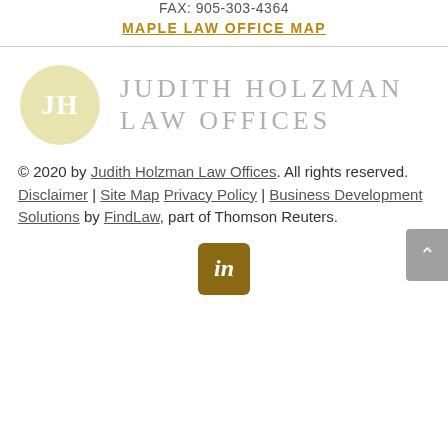FAX: 905-303-4364
MAPLE LAW OFFICE MAP
[Figure (logo): Judith Holzman Law Offices logo with circular JH monogram in light yellow-green and firm name in gray serif letters]
© 2020 by Judith Holzman Law Offices. All rights reserved. Disclaimer | Site Map Privacy Policy | Business Development Solutions by FindLaw, part of Thomson Reuters.
[Figure (other): LinkedIn icon button (dark gold/brown square with 'in') and scroll-to-top button (gray)]